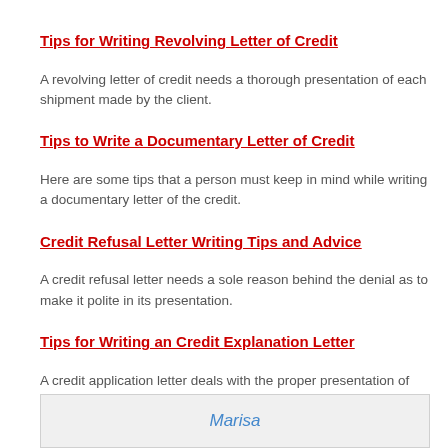Tips for Writing Revolving Letter of Credit
A revolving letter of credit needs a thorough presentation of each shipment made by the client.
Tips to Write a Documentary Letter of Credit
Here are some tips that a person must keep in mind while writing a documentary letter of the credit.
Credit Refusal Letter Writing Tips and Advice
A credit refusal letter needs a sole reason behind the denial as to make it polite in its presentation.
Tips for Writing an Credit Explanation Letter
A credit application letter deals with the proper presentation of the subject. Below are provided some tips to help you to write
Marisa